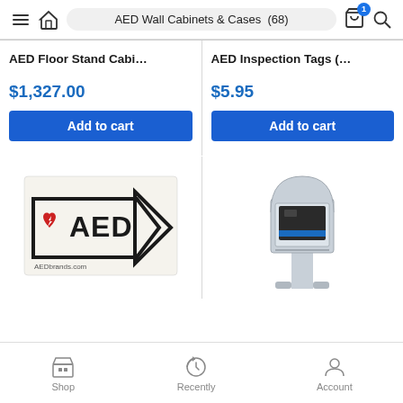AED Wall Cabinets & Cases (68)
AED Floor Stand Cabi...
$1,327.00
Add to cart
AED Inspection Tags (...
$5.95
Add to cart
[Figure (illustration): AED directional sign with red heart and lightning bolt logo, arrow shape pointing right, text AED, AEDbrands.com watermark]
[Figure (illustration): AED floor stand cabinet with arched top, gray metal frame, AED unit visible inside with blue accent stripe]
Shop   Recently   Account